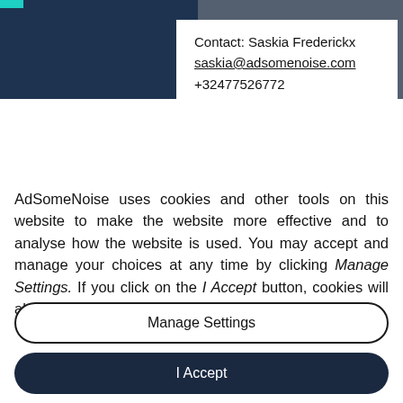IBAN BE23 6451 0451 3491
BIC JVBABE 22
Contact: Saskia Frederickx
saskia@adsomenoise.com
+32477526772
AdSomeNoise uses cookies and other tools on this website to make the website more effective and to analyse how the website is used. You may accept and manage your choices at any time by clicking Manage Settings. If you click on the I Accept button, cookies will also be used for advertising purposes.